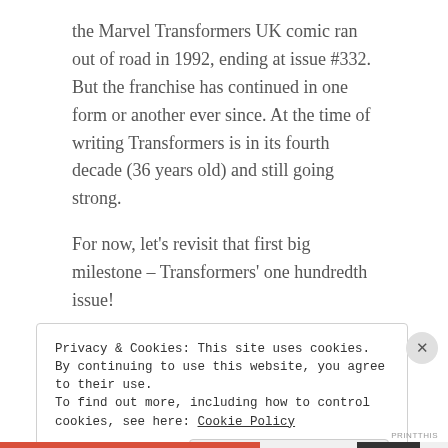the Marvel Transformers UK comic ran out of road in 1992, ending at issue #332. But the franchise has continued in one form or another ever since. At the time of writing Transformers is in its fourth decade (36 years old) and still going strong.
For now, let’s revisit that first big milestone – Transformers’ one hundredth issue!
Next story
Previous
Privacy & Cookies: This site uses cookies. By continuing to use this website, you agree to their use.
To find out more, including how to control cookies, see here: Cookie Policy
Close and accept